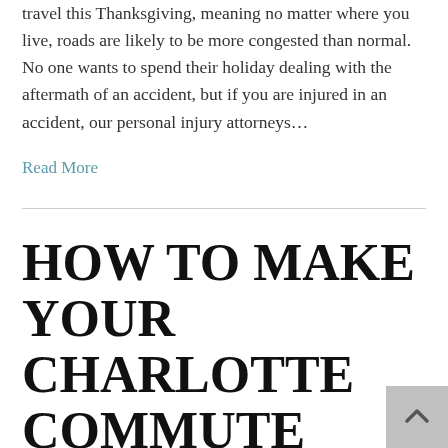travel this Thanksgiving, meaning no matter where you live, roads are likely to be more congested than normal. No one wants to spend their holiday dealing with the aftermath of an accident, but if you are injured in an accident, our personal injury attorneys…
Read More
HOW TO MAKE YOUR CHARLOTTE COMMUTE SAFE FOR EVERYONE ON THE